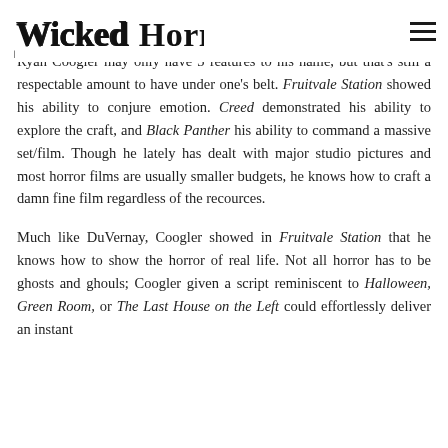Wicked Horror
Ryan Coogler may only have 3 features to his name, but that's still a respectable amount to have under one's belt. Fruitvale Station showed his ability to conjure emotion. Creed demonstrated his ability to explore the craft, and Black Panther his ability to command a massive set/film. Though he lately has dealt with major studio pictures and most horror films are usually smaller budgets, he knows how to craft a damn fine film regardless of the recources.
Much like DuVernay, Coogler showed in Fruitvale Station that he knows how to show the horror of real life. Not all horror has to be ghosts and ghouls; Coogler given a script reminiscent to Halloween, Green Room, or The Last House on the Left could effortlessly deliver an instant